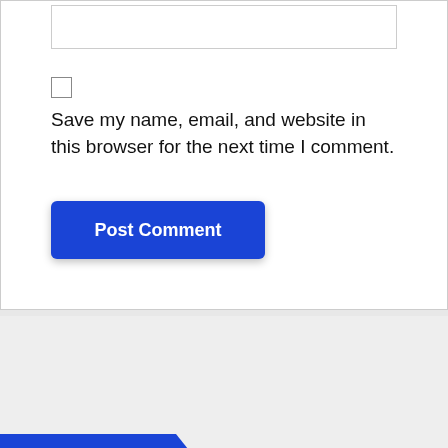Save my name, email, and website in this browser for the next time I comment.
Post Comment
Search
Search